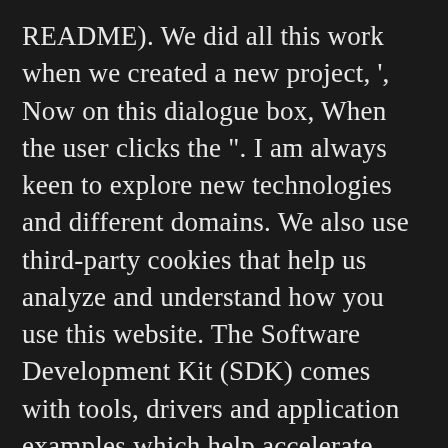README). We did all this work when we created a new project, ', Now on this dialogue box, When the user clicks the ". I am always keen to explore new technologies and different domains. We also use third-party cookies that help us analyze and understand how you use this website. The Software Development Kit (SDK) comes with tools, drivers and application examples which help accelerate application development. If you return or resolve wit... We will look at the languages that are supported in your test files, how Cypress handles integration tests and unit tests. Unlike cypress, pytest is mostly known as just being a unit-testing framework (for Python). Example running Cypress tests against Apache server via docker-